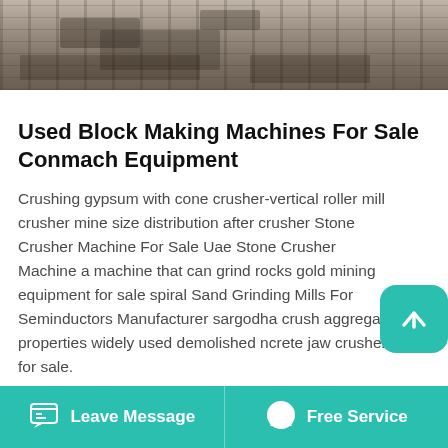[Figure (photo): Aerial or ground-level photo of heavy machinery/mining equipment in an industrial yard]
Used Block Making Machines For Sale Conmach Equipment
Crushing gypsum with cone crusher-vertical roller mill crusher mine size distribution after crusher Stone Crusher Machine For Sale Uae Stone Crusher Machine a machine that can grind rocks gold mining equipment for sale spiral Sand Grinding Mills For Seminductors Manufacturer sargodha crush aggregate properties widely used demolished ncrete jaw crusher for sale.
Powerscreen, the world's leading provider of mobile crushing and screening equipment, has launched its new Titan range, a new range of
Leave Message   Free Service